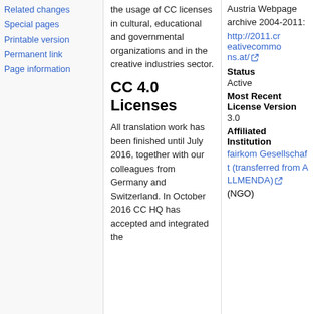Related changes
Special pages
Printable version
Permanent link
Page information
the usage of CC licenses in cultural, educational and governmental organizations and in the creative industries sector.
CC 4.0 Licenses
All translation work has been finished until July 2016, together with our colleagues from Germany and Switzerland. In October 2016 CC HQ has accepted and integrated the
Austria Webpage archive 2004-2011:
http://2011.creativecommons.at/
Status
Active
Most Recent License Version
3.0
Affiliated Institution
fairkom Gesellschaft (transferred from ALLMENDA) (NGO)